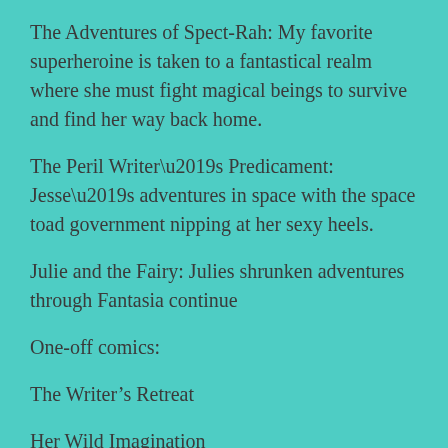The Adventures of Spect-Rah: My favorite superheroine is taken to a fantastical realm where she must fight magical beings to survive and find her way back home.
The Peril Writer’s Predicament: Jesse’s adventures in space with the space toad government nipping at her sexy heels.
Julie and the Fairy: Julies shrunken adventures through Fantasia continue
One-off comics:
The Writer’s Retreat
Her Wild Imagination
Unwanted Guest